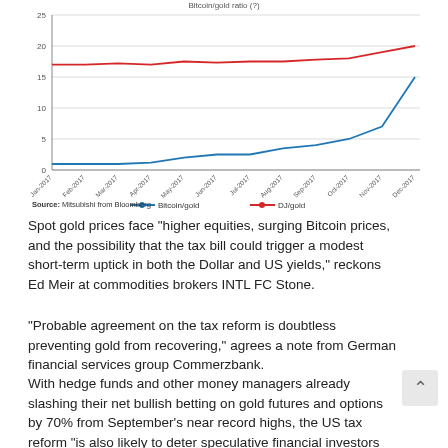[Figure (line-chart): Bitcoin/gold ratio]
Source: Mitsubishi from Bloomberg
Spot gold prices face "higher equities, surging Bitcoin prices, and the possibility that the tax bill could trigger a modest short-term uptick in both the Dollar and US yields," reckons Ed Meir at commodities brokers INTL FC Stone.
"Probable agreement on the tax reform is doubtless preventing gold from recovering," agrees a note from German financial services group Commerzbank.
With hedge funds and other money managers already slashing their net bullish betting on gold futures and options by 70% from September's near record highs, the US tax reform "is also likely to deter speculative financial investors from betting more heavily on